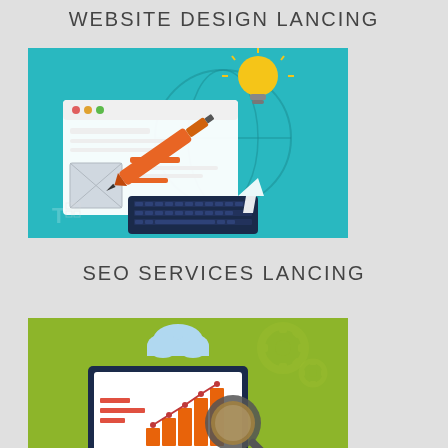WEBSITE DESIGN LANCING
[Figure (illustration): Flat design illustration of web design concept: browser window with layout, orange pen tool, USB connector, keyboard, lightbulb, cursor arrow, on teal/cyan background]
SEO SERVICES LANCING
[Figure (illustration): Flat design illustration of SEO services: bar chart with magnifying glass, monitor with analytics graph, cloud, gear icons, on olive green background]